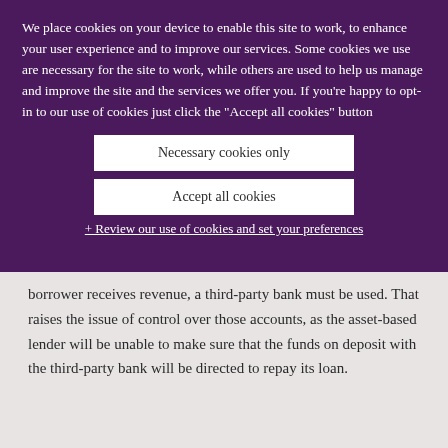We place cookies on your device to enable this site to work, to enhance your user experience and to improve our services. Some cookies we use are necessary for the site to work, while others are used to help us manage and improve the site and the services we offer you. If you're happy to opt-in to our use of cookies just click the "Accept all cookies" button
Necessary cookies only
Accept all cookies
+ Review our use of cookies and set your preferences
borrower receives revenue, a third-party bank must be used. That raises the issue of control over those accounts, as the asset-based lender will be unable to make sure that the funds on deposit with the third-party bank will be directed to repay its loan.